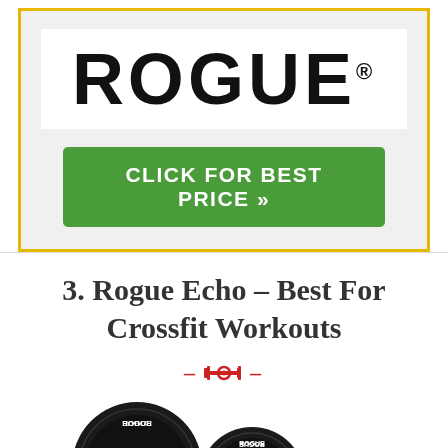[Figure (logo): Rogue brand logo in large bold black uppercase letters on white background]
CLICK FOR BEST PRICE »
3. Rogue Echo - Best For Crossfit Workouts
[Figure (illustration): Red dumbbell/barbell icon with dashes on either side as a decorative divider]
[Figure (photo): Three Rogue brand black bumper weight plates of decreasing sizes shown from left to right]